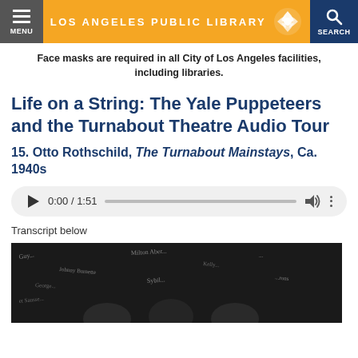LOS ANGELES PUBLIC LIBRARY
Face masks are required in all City of Los Angeles facilities, including libraries.
Life on a String: The Yale Puppeteers and the Turnabout Theatre Audio Tour
15. Otto Rothschild, The Turnabout Mainstays, Ca. 1940s
[Figure (other): Audio player widget showing 0:00 / 1:51 with play button, progress bar, volume icon, and more options icon]
Transcript below
[Figure (photo): Black and white photograph of people with signatures/autographs written across the background]